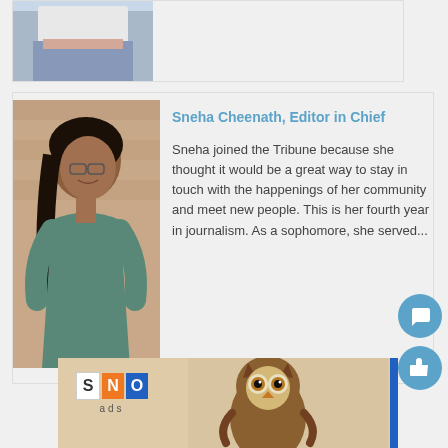[Figure (photo): Cropped photo showing torso of a person wearing a white top and jeans, standing against a light wall]
Sneha Cheenath, Editor in Chief
[Figure (photo): Photo of Sneha Cheenath, a young woman with glasses and long dark hair, wearing a teal shirt, standing against a brick wall and smiling]
Sneha joined the Tribune because she thought it would be a great way to stay in touch with the happenings of her community and meet new people. This is her fourth year in journalism. As a sophomore, she served...
[Figure (logo): SNO ads logo with S in white box, N in orange box, O in blue box, and 'ads' text below; accompanied by an owl illustration on a tan background with blue stripe on right]